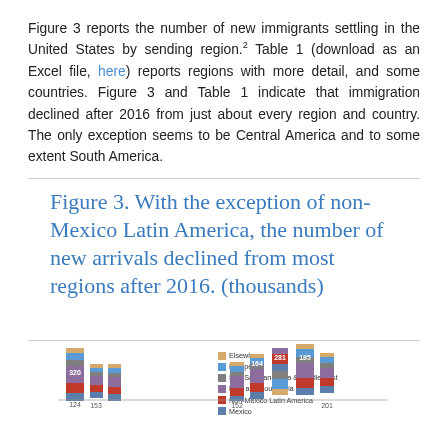Figure 3 reports the number of new immigrants settling in the United States by sending region.2 Table 1 (download as an Excel file, here) reports regions with more detail, and some countries. Figure 3 and Table 1 indicate that immigration declined after 2016 from just about every region and country. The only exception seems to be Central America and to some extent South America.
Figure 3. With the exception of non-Mexico Latin America, the number of new arrivals declined from most regions after 2016. (thousands)
[Figure (stacked-bar-chart): Stacked bar chart showing new immigrants by sending region over multiple years. Legend includes: Elsewhere, Europe, Sub-Saharan Africa & Middle East, East and South Asia, Non-Mexico Latin America, Mexico. Visible bar values include 320, 124, 153, 152, 164, 281, 185, 201.]